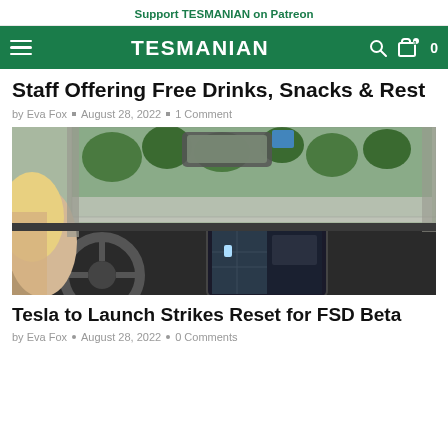Support TESMANIAN on Patreon
TESMANIAN
Staff Offering Free Drinks, Snacks & Rest
by Eva Fox • August 28, 2022 • 1 Comment
[Figure (photo): Interior view of a Tesla vehicle from the driver's perspective, showing the steering wheel, large touchscreen display with map navigation, and a view through the windshield of trees and a road. A blonde passenger/driver is visible on the left side.]
Tesla to Launch Strikes Reset for FSD Beta
by Eva Fox • August 28, 2022 • 0 Comments